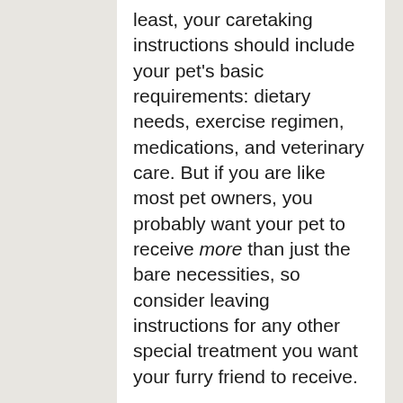least, your caretaking instructions should include your pet's basic requirements: dietary needs, exercise regimen, medications, and veterinary care. But if you are like most pet owners, you probably want your pet to receive more than just the bare necessities, so consider leaving instructions for any other special treatment you want your furry friend to receive.
From special grooming arrangements and yummy treats to weekly visits to the park and favorite toys, your care plan can provide your beloved companion with whatever lifestyle you wish for